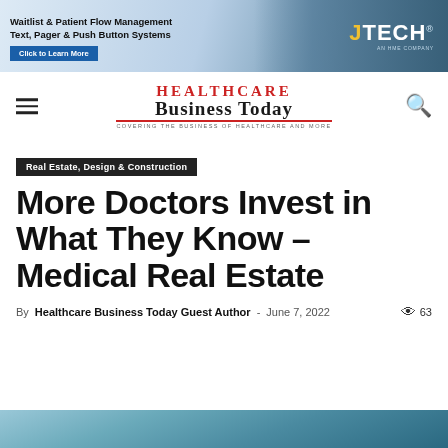[Figure (screenshot): Banner advertisement for JTECH: Waitlist & Patient Flow Management, Text, Pager & Push Button Systems with Click to Learn More button and JTECH logo on right side with medical staff background image]
[Figure (logo): Healthcare Business Today logo — red serif HEALTHCARE, bold Business Today, tagline: Covering the business of healthcare and more, with hamburger menu on left and search icon on right]
Real Estate, Design & Construction
More Doctors Invest in What They Know – Medical Real Estate
By Healthcare Business Today Guest Author - June 7, 2022  63
[Figure (photo): Partial photo strip at bottom of page, appears to show a person in medical/professional context, teal/blue tones]